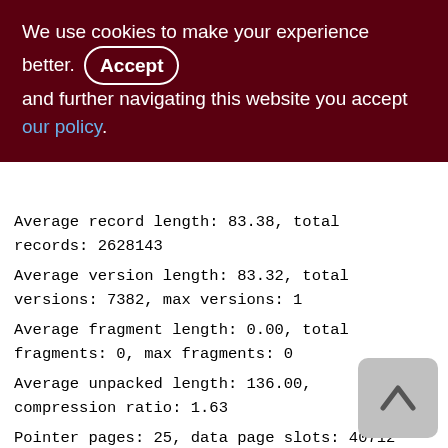We use cookies to make your experience better. By accepting and further navigating this website you accept our policy.
Average record length: 83.38, total records: 2628143
Average version length: 83.32, total versions: 7382, max versions: 1
Average fragment length: 0.00, total fragments: 0, max fragments: 0
Average unpacked length: 136.00, compression ratio: 1.63
Pointer pages: 25, data page slots: 40712
Data pages: 40712, average fill: 80%
Primary pages: 40712, secondary pages: 0, swept pages: 27729
Empty pages: 8, full pages: 40416